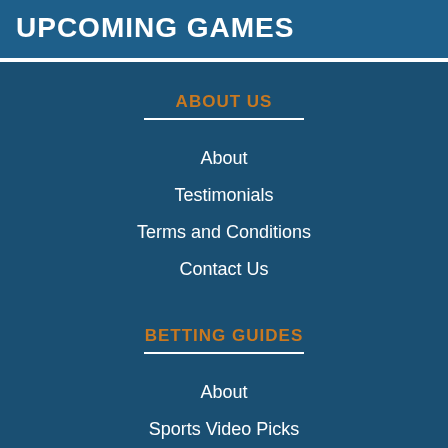UPCOMING GAMES
ABOUT US
About
Testimonials
Terms and Conditions
Contact Us
BETTING GUIDES
About
Sports Video Picks
News
Job Application